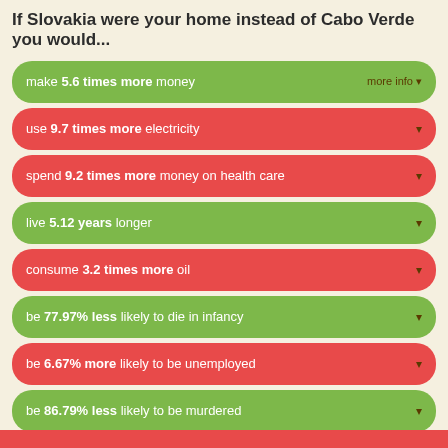If Slovakia were your home instead of Cabo Verde you would...
make 5.6 times more money
use 9.7 times more electricity
spend 9.2 times more money on health care
live 5.12 years longer
consume 3.2 times more oil
be 77.97% less likely to die in infancy
be 6.67% more likely to be unemployed
be 86.79% less likely to be murdered
be 34.27% less likely to be in prison
be 50% less likely to have HIV/AIDS
have 51.69% fewer babies